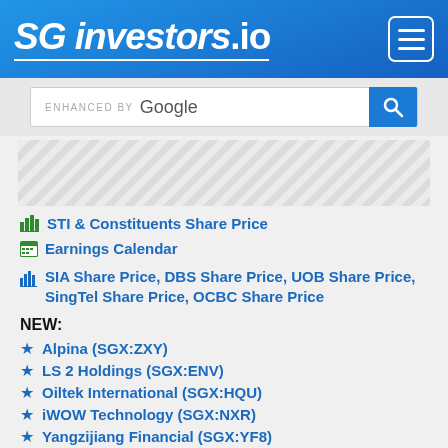SG investors.io
[Figure (screenshot): Google enhanced search bar with blue search button]
[Figure (other): Diagonal hatched advertisement placeholder area]
STI & Constituents Share Price
Earnings Calendar
SIA Share Price, DBS Share Price, UOB Share Price, SingTel Share Price, OCBC Share Price
NEW:
Alpina (SGX:ZXY)
LS 2 Holdings (SGX:ENV)
Oiltek International (SGX:HQU)
iWOW Technology (SGX:NXR)
Yangzijiang Financial (SGX:YF8)
LHN Logistics (SGX:GIH)
5E Resources (SGX:NLC)
NIO Inc. (SGX:NIO)